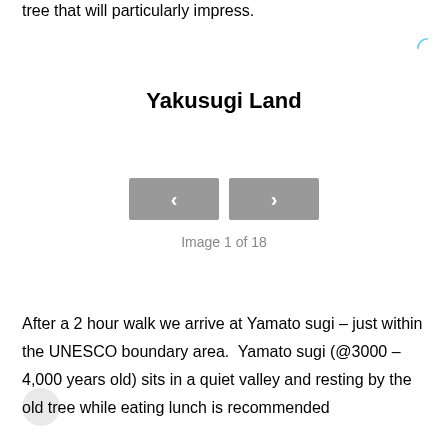tree that will particularly impress.
Yakusugi Land
[Figure (screenshot): Navigation buttons (previous and next) for an image gallery, with a loading spinner icon in the top right corner]
Image 1 of 18
After a 2 hour walk we arrive at Yamato sugi – just within the UNESCO boundary area.  Yamato sugi (@3000 – 4,000 years old) sits in a quiet valley and resting by the old tree while eating lunch is recommended